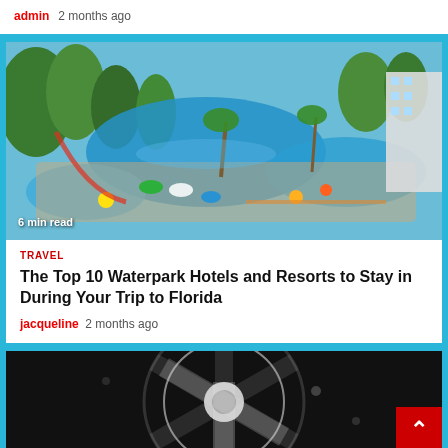admin  2 months ago
[Figure (photo): Aerial view of a waterpark hotel resort in Florida with pools, palm trees, slides, and colorful pool floats. '6 min read' badge in bottom left.]
6 min read
TRAVEL
The Top 10 Waterpark Hotels and Resorts to Stay in During Your Trip to Florida
jacqueline  2 months ago
[Figure (photo): Dark close-up photo of a film reel or wheel-like object with a red back-to-top button overlay in the bottom right corner.]